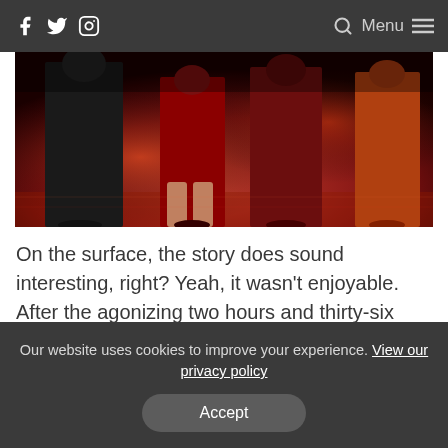f [twitter] [instagram] [search] Menu
[Figure (photo): Cropped photo showing lower halves of people in formal/event attire under red lighting, appearing to be at a party or film event. Figures in black and red dresses/outfits visible.]
On the surface, the story does sound interesting, right? Yeah, it wasn't enjoyable. After the agonizing two hours and thirty-six minutes, you were left wondering what the point of the film was. There was no tension and no payoff for sitting there forever. The costume design was great, but that's about it.
Our website uses cookies to improve your experience. View our privacy policy
Accept